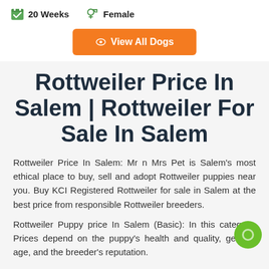20 Weeks
Female
View All Dogs
Rottweiler Price In Salem | Rottweiler For Sale In Salem
Rottweiler Price In Salem: Mr n Mrs Pet is Salem's most ethical place to buy, sell and adopt Rottweiler puppies near you. Buy KCI Registered Rottweiler for sale in Salem at the best price from responsible Rottweiler breeders.
Rottweiler Puppy price In Salem (Basic): In this category, Prices depend on the puppy's health and quality, gender, age, and the breeder's reputation.